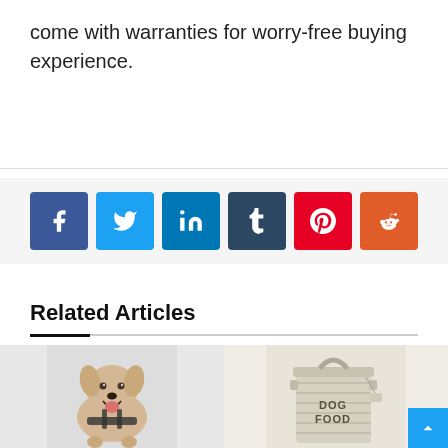come with warranties for worry-free buying experience.
[Figure (infographic): Row of six social media share buttons: Facebook (blue), Twitter (light blue), LinkedIn (teal blue), Tumblr (dark navy), Pinterest (red), Reddit (orange-red)]
Related Articles
[Figure (photo): Photo of a Labrador Retriever dog wearing a harness, sitting and panting with mouth open]
[Figure (photo): Photo of a beige/cream metal dog food storage tin/container with 'DOG FOOD' embossed text and a handle on top]